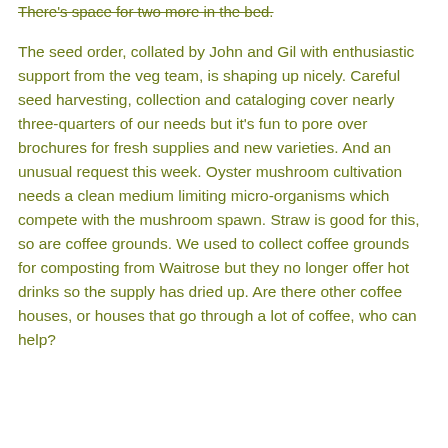There's space for two more in the bed.
The seed order, collated by John and Gil with enthusiastic support from the veg team, is shaping up nicely. Careful seed harvesting, collection and cataloging cover nearly three-quarters of our needs but it's fun to pore over brochures for fresh supplies and new varieties. And an unusual request this week. Oyster mushroom cultivation needs a clean medium limiting micro-organisms which compete with the mushroom spawn. Straw is good for this, so are coffee grounds. We used to collect coffee grounds for composting from Waitrose but they no longer offer hot drinks so the supply has dried up. Are there other coffee houses, or houses that go through a lot of coffee, who can help?